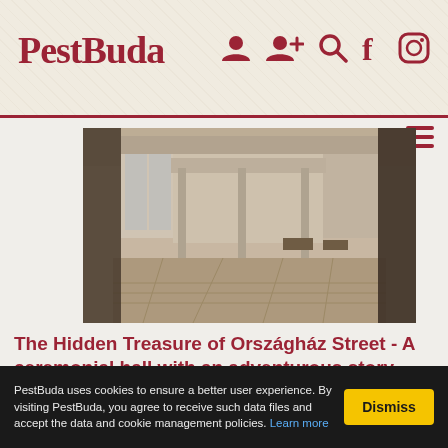PestBuda
[Figure (photo): Black and white interior photo of a large ceremonial hall with tall windows, ornate walls, wooden parquet floor, and draped curtains, taken at Országház Street in Buda Castle.]
The Hidden Treasure of Országház Street - A ceremonial hall with an adventurous story
Walking in the Buda Castle, between the one- and two-storey houses of the narrow Országház Street, we would not even think that one of them hides a huge ceremonial hall. Although it is actually logical,
PestBuda uses cookies to ensure a better user experience. By visiting PestBuda, you agree to receive such data files and accept the data and cookie management policies. Learn more